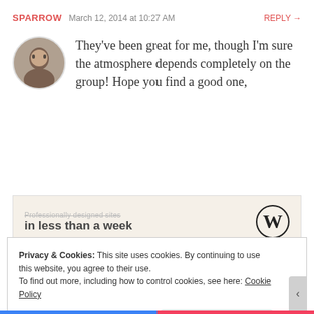SPARROW  March 12, 2014 at 10:27 AM  REPLY →
They've been great for me, though I'm sure the atmosphere depends completely on the group! Hope you find a good one,
[Figure (screenshot): WordPress advertisement banner: 'Professionally designed sites in less than a week' with WordPress logo]
REPORT THIS AD
Privacy & Cookies: This site uses cookies. By continuing to use this website, you agree to their use.
To find out more, including how to control cookies, see here: Cookie Policy
Close and accept